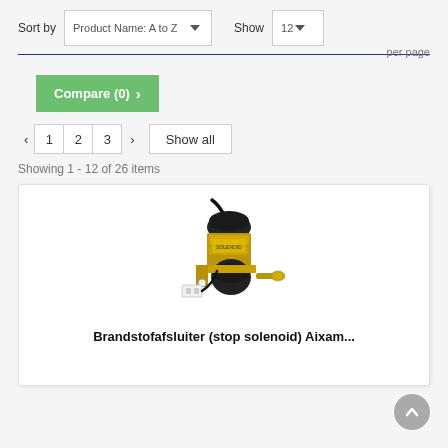Sort by  Product Name: A to Z    Show  12    per page
Compare (0) >
< 1 2 3 >  Show all
Showing 1 - 12 of 26 items
[Figure (photo): Brandstofafsluiter (stop solenoid) fuel cutoff solenoid component with black cap, gold/brass body and mounting bracket with wire connector]
Brandstofafsluiter (stop solenoid) Aixam...